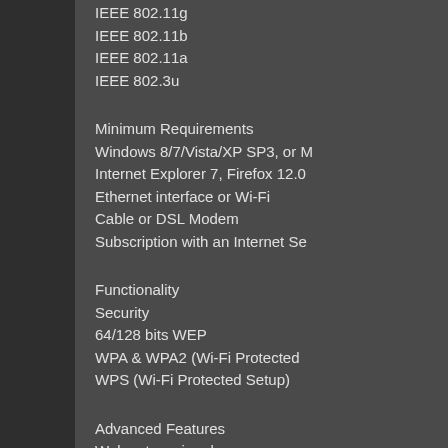IEEE 802.11g
IEEE 802.11b
IEEE 802.11a
IEEE 802.3u
Minimum Requirements
Windows 8/7/Vista/XP SP3, or M
Internet Explorer 7, Firefox 12.0
Ethernet interface or Wi-Fi
Cable or DSL Modem
Subscription with an Internet Se
Functionality
Security
64/128 bits WEP
WPA & WPA2 (Wi-Fi Protected
WPS (Wi-Fi Protected Setup)
Advanced Features
Web setup wizard
QoS (Quality of Service)
DMZ (Demilitarized Zone)
Firewall - Network Address Tran